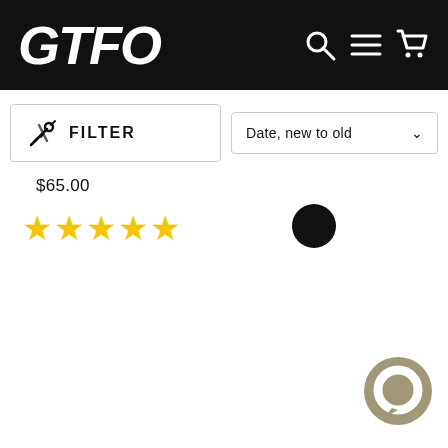GTFO
FILTER
Date, new to old
$65.00
[Figure (other): Five gold star rating icons]
[Figure (other): Black filled circle dot, color swatch]
SOLD OUT
SOLD OUT
[Figure (other): Chat bubble widget icon in khaki/tan color]